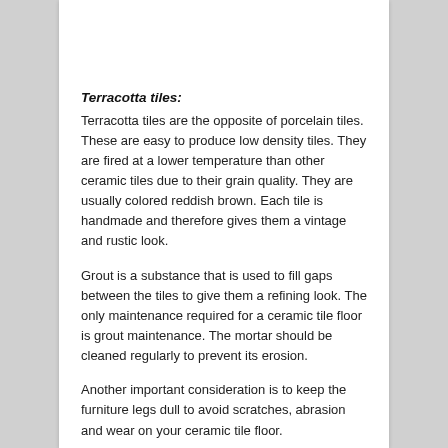Terracotta tiles:
Terracotta tiles are the opposite of porcelain tiles. These are easy to produce low density tiles. They are fired at a lower temperature than other ceramic tiles due to their grain quality. They are usually colored reddish brown. Each tile is handmade and therefore gives them a vintage and rustic look.
Grout is a substance that is used to fill gaps between the tiles to give them a refining look. The only maintenance required for a ceramic tile floor is grout maintenance. The mortar should be cleaned regularly to prevent its erosion.
Another important consideration is to keep the furniture legs dull to avoid scratches, abrasion and wear on your ceramic tile floor.